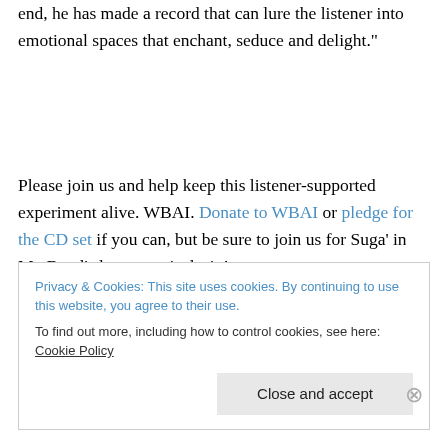end, he has made a record that can lure the listener into emotional spaces that enchant, seduce and delight."
Please join us and help keep this listener-supported experiment alive. WBAI. Donate to WBAI or pledge for the CD set if you can, but be sure to join us for Suga' in My Bowl's latest musical trip!
Privacy & Cookies: This site uses cookies. By continuing to use this website, you agree to their use.
To find out more, including how to control cookies, see here: Cookie Policy